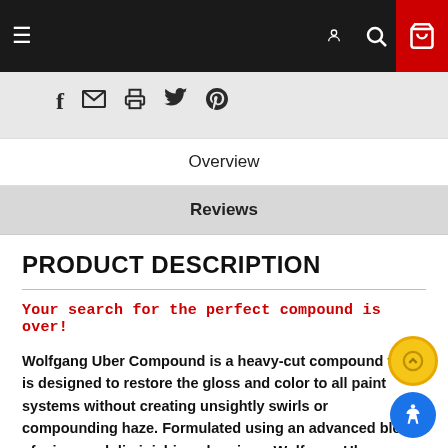Navigation bar with hamburger menu, search, account, and cart icons
[Figure (screenshot): Social share icons: Facebook, email, print, Twitter, Pinterest]
Overview
Reviews
PRODUCT DESCRIPTION
Your search for the perfect compound is over!
Wolfgang Uber Compound is a heavy-cut compound that is designed to restore the gloss and color to all paint systems without creating unsightly swirls or compounding haze. Formulated using an advanced blend of micro and diminishing abrasives, Wolfgang Uber Compound effortlessly removes heavy swirl